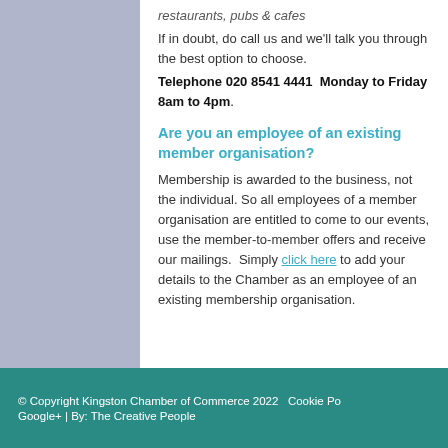restaurants, pubs & cafes
If in doubt, do call us and we'll talk you through the best option to choose. Telephone 020 8541 4441  Monday to Friday 8am to 4pm.
Are you an employee of an existing member organisation?
Membership is awarded to the business, not the individual. So all employees of a member organisation are entitled to come to our events, use the member-to-member offers and receive our mailings.  Simply click here to add your details to the Chamber as an employee of an existing membership organisation.
© Copyright Kingston Chamber of Commerce 2022   Cookie Po
Google+ | By: The Creative People